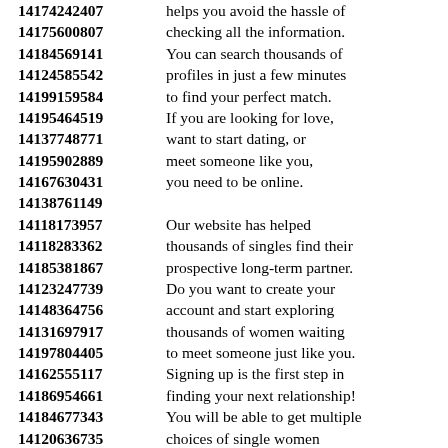14174242407 helps you avoid the hassle of
14175600807 checking all the information.
14184569141 You can search thousands of
14124585542 profiles in just a few minutes
14199159584 to find your perfect match.
14195464519 If you are looking for love,
14137748771 want to start dating, or
14195902889 meet someone like you,
14167630431 you need to be online.
14138761149
14118173957 Our website has helped
14118283362 thousands of singles find their
14185381867 prospective long-term partner.
14123247739 Do you want to create your
14148364756 account and start exploring
14131697917 thousands of women waiting
14197804405 to meet someone just like you.
14162555117 Signing up is the first step in
14186954661 finding your next relationship!
14184677343 You will be able to get multiple
14120636735 choices of single women
14152649928 to meet your specific needs
14153631481 based on the preferences you
14177468830 will have provided information.
14194873399
14114221627 Which site is the best for